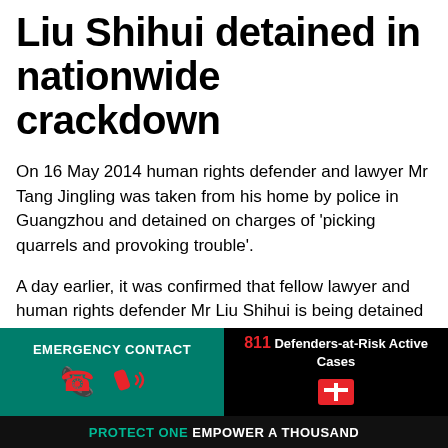Liu Shihui detained in nationwide crackdown
On 16 May 2014 human rights defender and lawyer Mr Tang Jingling was taken from his home by police in Guangzhou and detained on charges of 'picking quarrels and provoking trouble'.
A day earlier, it was confirmed that fellow lawyer and human rights defender Mr Liu Shihui is being detained by police in Shanghai, following his sudden disappearance on 13 May 2014. Both Tang Jingling and Liu Shihui are Guangzhou-
EMERGENCY CONTACT | 811 Defenders-at-Risk Active Cases | PROTECT ONE EMPOWER A THOUSAND